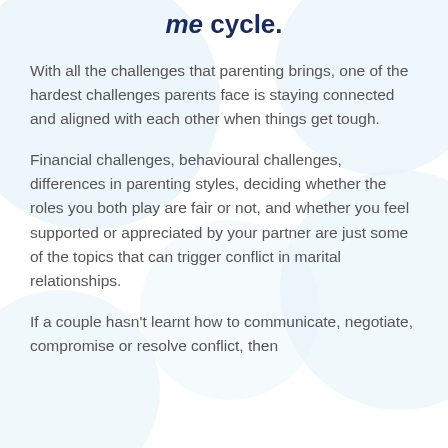me cycle.
With all the challenges that parenting brings, one of the hardest challenges parents face is staying connected and aligned with each other when things get tough.
Financial challenges, behavioural challenges, differences in parenting styles, deciding whether the roles you both play are fair or not, and whether you feel supported or appreciated by your partner are just some of the topics that can trigger conflict in marital relationships.
If a couple hasn't learnt how to communicate, negotiate, compromise or resolve conflict, then